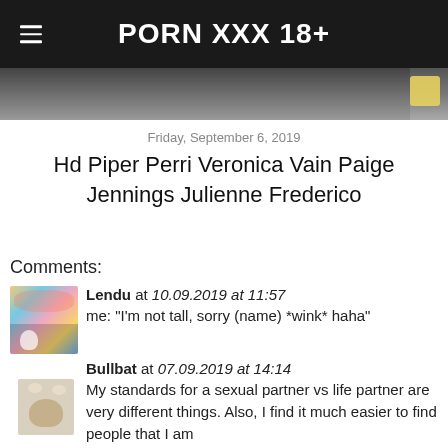PORN XXX 18+
[Figure (photo): Cropped hero image strip showing partial photo with dark and light areas, small yellow element at right]
Friday, September 6, 2019
Hd Piper Perri Veronica Vain Paige Jennings Julienne Frederico
Comments:
Lendu at 10.09.2019 at 11:57
me: "I'm not tall, sorry (name) *wink* haha"
Bullbat at 07.09.2019 at 14:14
My standards for a sexual partner vs life partner are very different things. Also, I find it much easier to find people that I am